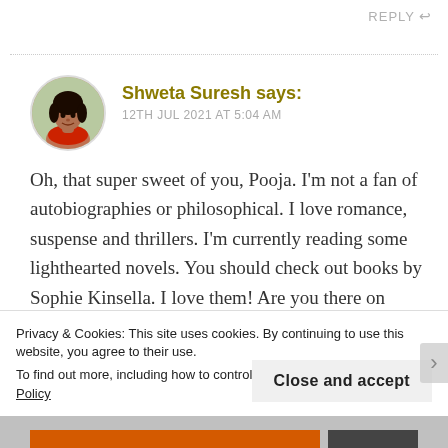REPLY
Shweta Suresh says:
12TH JUL 2021 AT 5:04 AM
Oh, that super sweet of you, Pooja. I'm not a fan of autobiographies or philosophical. I love romance, suspense and thrillers. I'm currently reading some lighthearted novels. You should check out books by Sophie Kinsella. I love them! Are you there on
Privacy & Cookies: This site uses cookies. By continuing to use this website, you agree to their use.
To find out more, including how to control cookies, see here: Cookie Policy
Close and accept